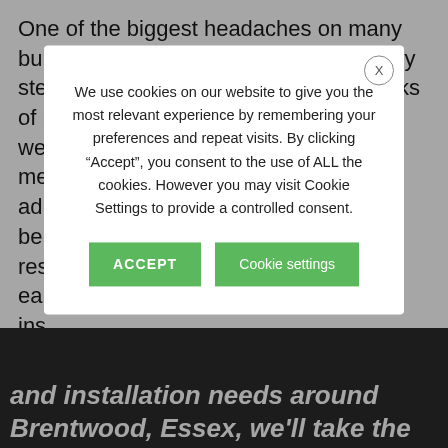One of the biggest headaches on many builds is the requirement for large, heavy steel I-beams. There are substantial risks of injury when moving and lifting an... we... fe me... ad be... res... d ea... e ins...
We use cookies on our website to give you the most relevant experience by remembering your preferences and repeat visits. By clicking “Accept”, you consent to the use of ALL the cookies. However you may visit Cookie Settings to provide a controlled consent.
ACCEPT | Cookie settings
and installation needs around Brentwood, Essex, we’ll take the